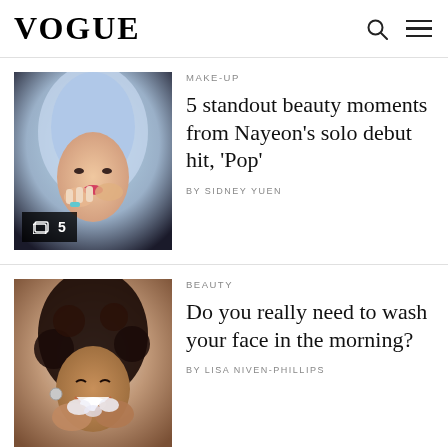VOGUE
MAKE-UP
5 standout beauty moments from Nayeon's solo debut hit, 'Pop'
BY SIDNEY YUEN
[Figure (photo): Portrait of Nayeon with blue-silver hair posing with hands near face, with a gallery icon overlay showing '5']
BEAUTY
Do you really need to wash your face in the morning?
BY LISA NIVEN-PHILLIPS
[Figure (photo): Woman with curly hair washing her face and smiling]